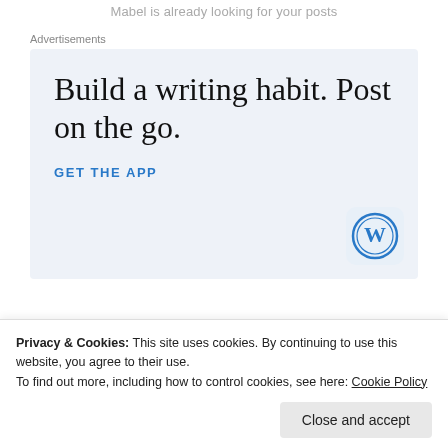Mabel is already looking for your posts
Advertisements
[Figure (infographic): WordPress app advertisement with text 'Build a writing habit. Post on the go.' and a 'GET THE APP' call-to-action link with WordPress logo]
Privacy & Cookies: This site uses cookies. By continuing to use this website, you agree to their use.
To find out more, including how to control cookies, see here: Cookie Policy
read your contributions. Thanks a million!